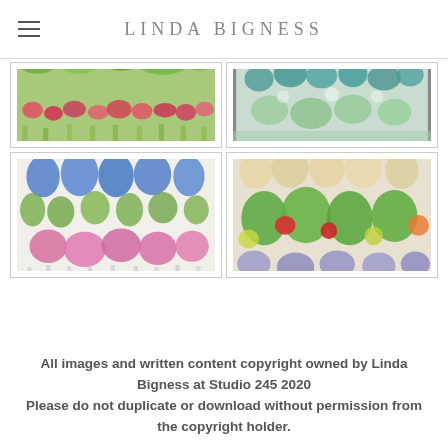LINDA BIGNESS
[Figure (illustration): Painting of colorful flowers/garden scene with red, pink, and green tones — top portion visible, cropped]
[Figure (illustration): Painting of abstract floral/garden scene with teal and green tones — top portion visible, cropped]
[Figure (illustration): Painting of blue and pink flowers with green leaves on white background]
[Figure (illustration): Painting of colorful rounded leaf/flower shapes in green, yellow, red, and purple tones]
All images and written content copyright owned by Linda Bigness at Studio 245 2020
Please do not duplicate or download without permission from the copyright holder.